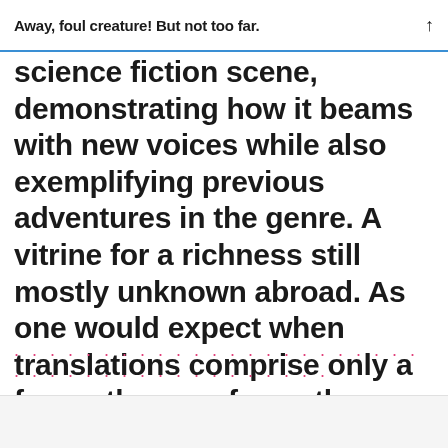Away, foul creature! But not too far.
science fiction scene, demonstrating how it beams with new voices while also exemplifying previous adventures in the genre. A vitrine for a richness still mostly unknown abroad. As one would expect when translations comprise only a few authors as far as the English speaking market is considered and remain scarce throughout all languages.
· · · · · · · · · · · · · · · · · · · · · · · · · · · · · · · · · · · · · · · ·